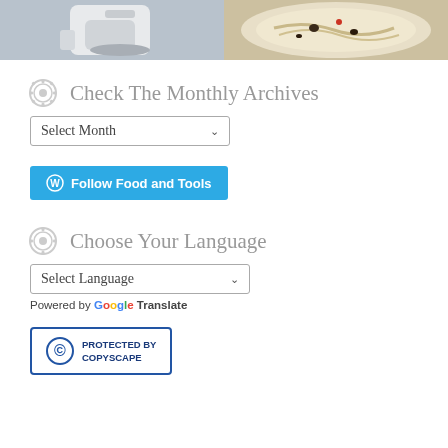[Figure (photo): Two food/kitchen photos side by side: left shows a white stand mixer or kitchen appliance, right shows a bowl of creamy pasta or casserole dish with dark ingredients mixed in]
Check The Monthly Archives
Select Month (dropdown)
Follow Food and Tools (WordPress follow button)
Choose Your Language
Select Language (dropdown)
Powered by Google Translate
[Figure (logo): PROTECTED BY COPYSCAPE badge with copyright symbol]